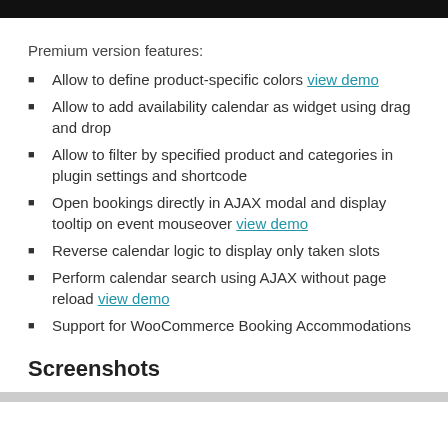Premium version features:
Allow to define product-specific colors view demo
Allow to add availability calendar as widget using drag and drop
Allow to filter by specified product and categories in plugin settings and shortcode
Open bookings directly in AJAX modal and display tooltip on event mouseover view demo
Reverse calendar logic to display only taken slots
Perform calendar search using AJAX without page reload view demo
Support for WooCommerce Booking Accommodations
Screenshots